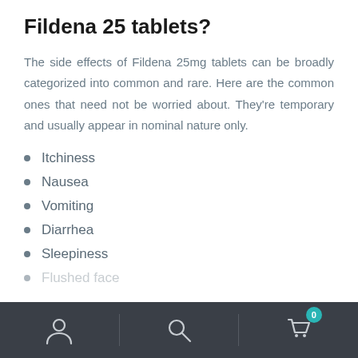Fildena 25 tablets?
The side effects of Fildena 25mg tablets can be broadly categorized into common and rare. Here are the common ones that need not be worried about. They're temporary and usually appear in nominal nature only.
Itchiness
Nausea
Vomiting
Diarrhea
Sleepiness
Flushed face
Navigation bar with user icon, search icon, and cart icon with badge 0